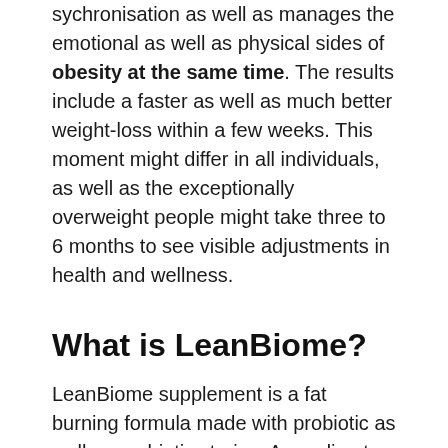sychronisation as well as manages the emotional as well as physical sides of obesity at the same time. The results include a faster as well as much better weight-loss within a few weeks. This moment might differ in all individuals, as well as the exceptionally overweight people might take three to 6 months to see visible adjustments in health and wellness.
What is LeanBiome?
LeanBiome supplement is a fat burning formula made with probiotic as well as prebiotic strains. According to the main internet site, this probiotic mix works on removing the body from toxic substances, oxidative tension, complimentary radicals, and extra — the more associated with...